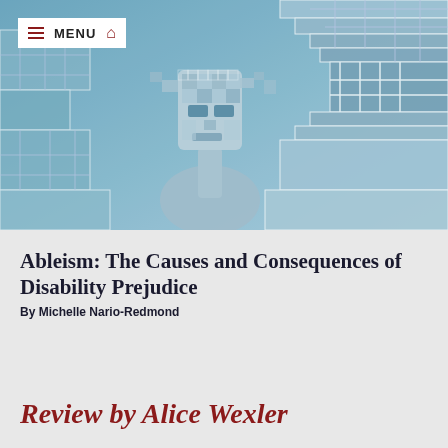[Figure (illustration): A blue-tinted robot or humanoid figure composed of maze-like geometric/labyrinth blocks and patterns against a similar maze-patterned background]
≡ MENU 🏠
Ableism: The Causes and Consequences of Disability Prejudice
By Michelle Nario-Redmond
Review by Alice Wexler